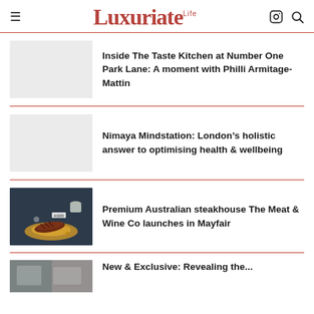Luxuriate Life
Inside The Taste Kitchen at Number One Park Lane: A moment with Philli Armitage-Mattin
Nimaya Mindstation: London’s holistic answer to optimising health & wellbeing
Premium Australian steakhouse The Meat & Wine Co launches in Mayfair
New article preview (partial)